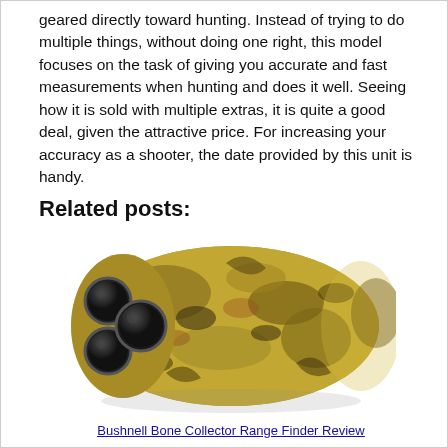geared directly toward hunting. Instead of trying to do multiple things, without doing one right, this model focuses on the task of giving you accurate and fast measurements when hunting and does it well. Seeing how it is sold with multiple extras, it is quite a good deal, given the attractive price. For increasing your accuracy as a shooter, the date provided by this unit is handy.
Related posts:
[Figure (photo): A camouflage-pattern Bushnell Bone Collector range finder with three objective lenses visible on the front face.]
Bushnell Bone Collector Range Finder Review